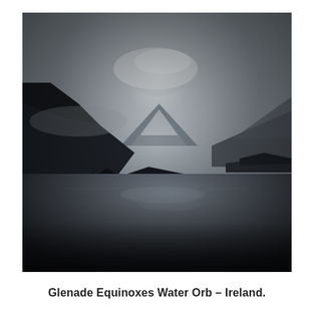[Figure (photo): A misty landscape photograph of Glenade lake in Ireland. Dark silhouetted mountains and hills on the left and right sides frame a calm, mirror-like lake in the centre. A snow-capped or cloud-covered mountain peak is visible in the background centre. The sky is pale grey and overcast with a bright diffuse light near the centre top. Dark tree-lined shores reflect in the still water. The overall tones are very dark, desaturated, and moody.]
Glenade Equinoxes Water Orb – Ireland.